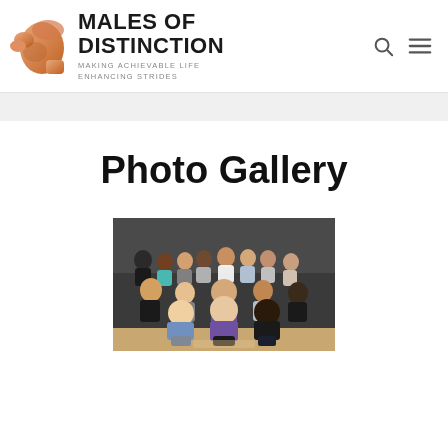[Figure (logo): Males of Distinction logo: a stylized fist/hand in brown/copper tones pointing left, with organization name and tagline]
Photo Gallery
[Figure (photo): Group photo of approximately 15 young people (students) posing together in what appears to be a gymnasium or school setting. They are seated and standing on bleachers. One person in the front center is wearing a purple shirt and kneeling. Others wear casual clothing including black t-shirts and a gray sweatshirt.]